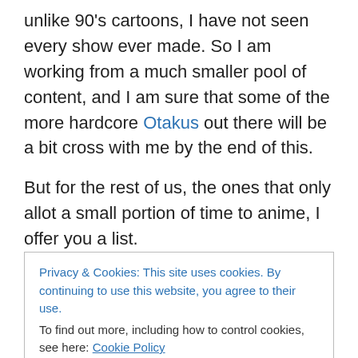unlike 90's cartoons, I have not seen every show ever made. So I am working from a much smaller pool of content, and I am sure that some of the more hardcore Otakus out there will be a bit cross with me by the end of this.
But for the rest of us, the ones that only allot a small portion of time to anime, I offer you a list.
A list of the animes that have offered me the most enjoyment, the most fun.
Privacy & Cookies: This site uses cookies. By continuing to use this website, you agree to their use. To find out more, including how to control cookies, see here: Cookie Policy